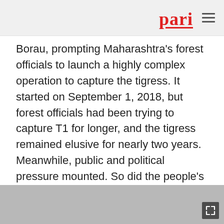pari
Borau, prompting Maharashtra's forest officials to launch a highly complex operation to capture the tigress. It started on September 1, 2018, but forest officials had been trying to capture T1 for longer, and the tigress remained elusive for nearly two years. Meanwhile, public and political pressure mounted. So did the people's desperation and anxiety.
[Figure (photo): Grey area placeholder for an image below the article text]